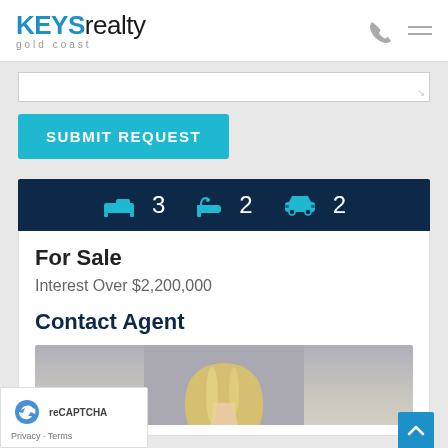KEYS realty gold coast
[Figure (screenshot): Textarea input box for form submission]
SUBMIT REQUEST
[Figure (infographic): Property features bar showing: bed icon 3, bath icon 2, car icon 2]
For Sale
Interest Over $2,200,000
Contact Agent
[Figure (photo): Blonde female real estate agent headshot photo]
Privacy · Terms